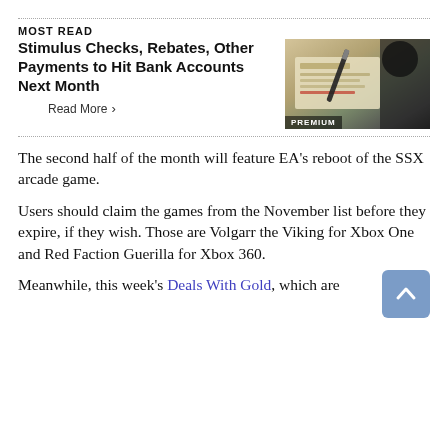MOST READ
Stimulus Checks, Rebates, Other Payments to Hit Bank Accounts Next Month
[Figure (photo): Photo of a stimulus check with a pen on top, labeled PREMIUM]
Read More >
The second half of the month will feature EA’s reboot of the SSX arcade game.
Users should claim the games from the November list before they expire, if they wish. Those are Volgarr the Viking for Xbox One and Red Faction Guerilla for Xbox 360.
Meanwhile, this week’s Deals With Gold, which are